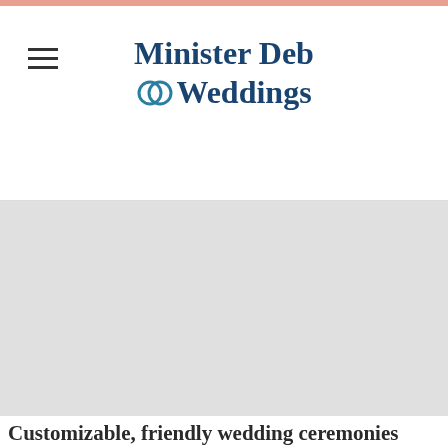Minister Deb Weddings
[Figure (photo): Hero image placeholder - light gray background]
Customizable, friendly wedding ceremonies
My name is Minister Deb and I have studied with top theologians at the Candler School of
[Figure (photo): Photo of Minister Deb speaking at a wedding ceremony with floral arrangement in background]